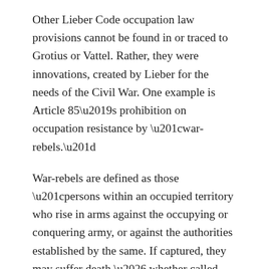Other Lieber Code occupation law provisions cannot be found in or traced to Grotius or Vattel. Rather, they were innovations, created by Lieber for the needs of the Civil War. One example is Article 85’s prohibition on occupation resistance by “war-rebels.”
War-rebels are defined as those “persons within an occupied territory who rise in arms against the occupying or conquering army, or against the authorities established by the same. If captured, they may suffer death … whether called upon to [fight] by their own, but expelled, government or not.”
Modern day “war-rebels” are classified as …